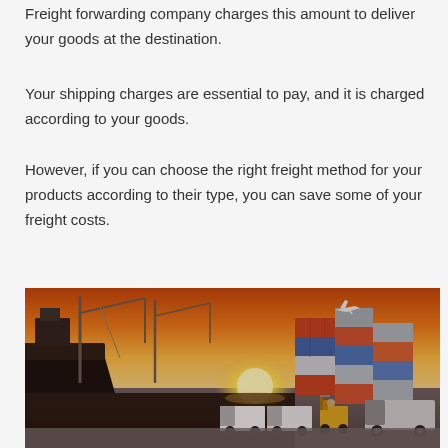Freight forwarding company charges this amount to deliver your goods at the destination.
Your shipping charges are essential to pay, and it is charged according to your goods.
However, if you can choose the right freight method for your products according to their type, you can save some of your freight costs.
[Figure (photo): A shipping port at sunset showing a large cargo ship with cranes, stacked colorful shipping containers on the right, trucks and a forklift in the foreground, and an airplane flying overhead against an orange sky.]